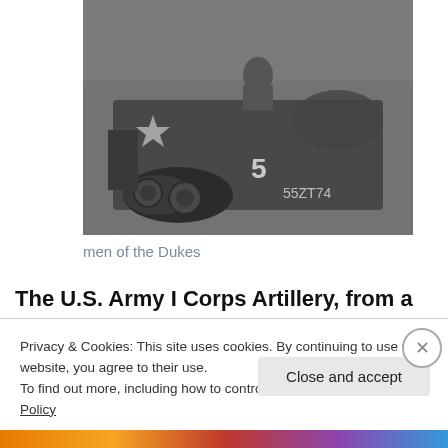[Figure (photo): Black and white photograph of a military half-track vehicle with the number 5 painted on it and markings '55ZT74', soldiers visible on and around the vehicle.]
men of the Dukes
The U.S. Army I Corps Artillery, from a rocket battery, had
Privacy & Cookies: This site uses cookies. By continuing to use this website, you agree to their use.
To find out more, including how to control cookies, see here: Cookie Policy
Close and accept